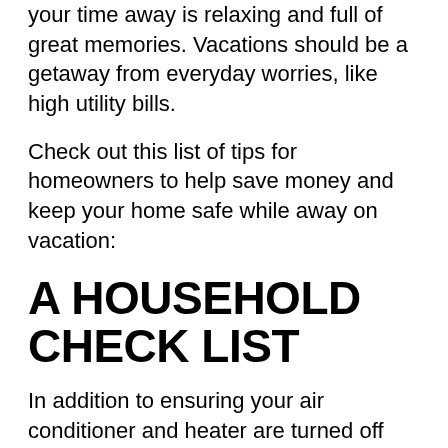your time away is relaxing and full of great memories. Vacations should be a getaway from everyday worries, like high utility bills.
Check out this list of tips for homeowners to help save money and keep your home safe while away on vacation:
A HOUSEHOLD CHECK LIST
In addition to ensuring your air conditioner and heater are turned off before you leave on vacation, there are a few other items you should take care of as well. Things like cleaning out your refrigerator, leaving select lights on inside your house so it's not pitch black at night, readying